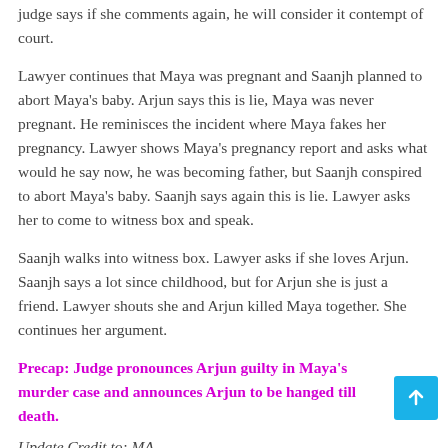judge says if she comments again, he will consider it contempt of court.
Lawyer continues that Maya was pregnant and Saanjh planned to abort Maya's baby. Arjun says this is lie, Maya was never pregnant. He reminisces the incident where Maya fakes her pregnancy. Lawyer shows Maya's pregnancy report and asks what would he say now, he was becoming father, but Saanjh conspired to abort Maya's baby. Saanjh says again this is lie. Lawyer asks her to come to witness box and speak.
Saanjh walks into witness box. Lawyer asks if she loves Arjun. Saanjh says a lot since childhood, but for Arjun she is just a friend. Lawyer shouts she and Arjun killed Maya together. She continues her argument.
Precap: Judge pronounces Arjun guilty in Maya's murder case and announces Arjun to be hanged till death.
Update Credit to: MA